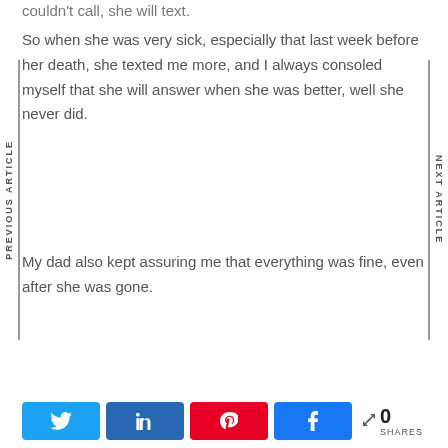couldn't call, she will text.
So when she was very sick, especially that last week before her death, she texted me more, and I always consoled myself that she will answer when she was better, well she never did.
My dad also kept assuring me that everything was fine, even after she was gone.
PREVIOUS ARTICLE
NEXT ARTICLE
0 SHARES